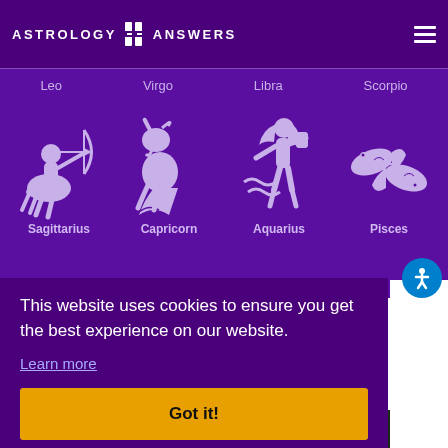ASTROLOGY ANSWERS
Leo  Virgo  Libra  Scorpio
[Figure (illustration): Four zodiac sign icons on purple background: Sagittarius (centaur with bow), Capricorn (sea-goat), Aquarius (water bearer), Pisces (two fish). Each has label below.]
This website uses cookies to ensure you get the best experience on our website.
Learn more
Got it!
THE HUNT IS ON!